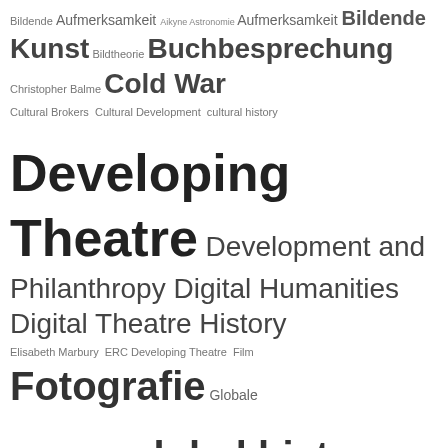[Figure (infographic): Tag cloud / word cloud with German and English academic and cultural terms in varying font sizes indicating frequency. Terms include: Bildende Kunst, Aufmerksamkeit, Aikyne, Astronomie, Buchbesprechung, Christopher Balme, Cold War, Cultural Brokers, Cultural Development, cultural history, Developing Theatre, Development and Philanthropy, Digital Humanities, Digital Theatre History, Elisabeth Marbury, ERC Developing Theatre, Film, Fotografie, Globale Theatergeschichte, global history, Global Theatre, Global Theatre Histories, Global Theatre History, Haiku, Heimat, History of Photography, History of Theatrical Business, Immersion, International Theatre Institute, Kunst und Lyrik, LMU München, Lyrik, me-Time, Media History, Medien, Mediengeschichte, Memory, Momentaufnahmen, Nic Leonhardt, Online-Dating, Paris, Philanthropy, Photography, Quality Time, Reza Nassrollahi, Rezension]